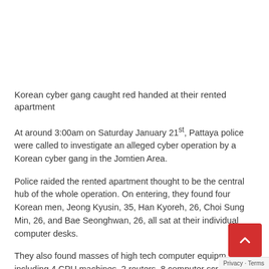Korean cyber gang caught red handed at their rented apartment
At around 3:00am on Saturday January 21st, Pattaya police were called to investigate an alleged cyber operation by a Korean cyber gang in the Jomtien Area.
Police raided the rented apartment thought to be the central hub of the whole operation. On entering, they found four Korean men, Jeong Kyusin, 35, Han Kyoreh, 26, Choi Sung Min, 26, and Bae Seonghwan, 26, all sat at their individual computer desks.
They also found masses of high tech computer equipment including 4 CPU machines, 2 routers, 8 computer screens, 10